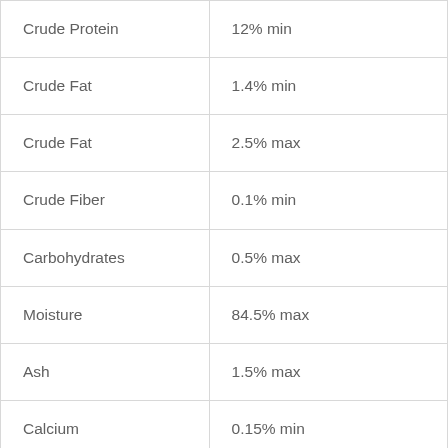| Crude Protein | 12% min |
| Crude Fat | 1.4% min |
| Crude Fat | 2.5% max |
| Crude Fiber | 0.1% min |
| Carbohydrates | 0.5% max |
| Moisture | 84.5% max |
| Ash | 1.5% max |
| Calcium | 0.15% min |
| Magnesium | 0.035% max |